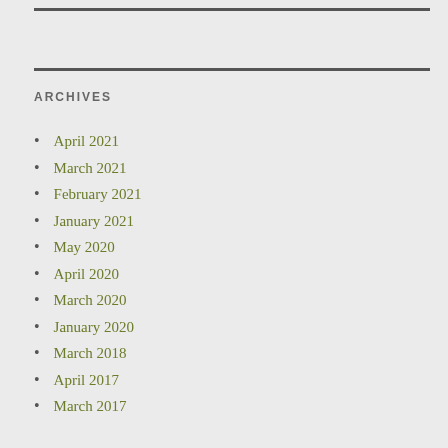ARCHIVES
April 2021
March 2021
February 2021
January 2021
May 2020
April 2020
March 2020
January 2020
March 2018
April 2017
March 2017